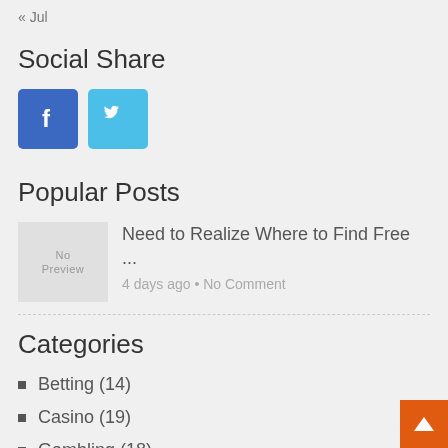« Jul
Social Share
[Figure (illustration): Facebook and Twitter social share buttons — blue square with white 'f' icon and light-blue square with white bird icon]
Popular Posts
[Figure (photo): No Preview placeholder thumbnail image]
Need to Realize Where to Find Free ...
4 days ago • No Comment
Categories
Betting (14)
Casino (19)
Gambling (18)